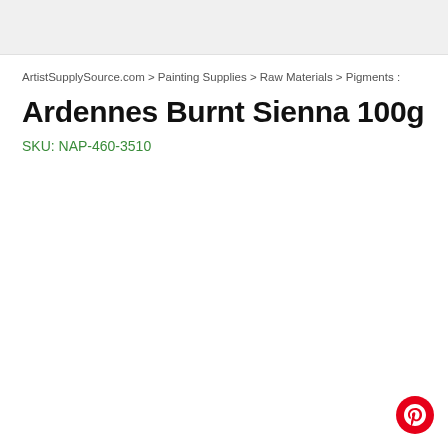ArtistSupplySource.com > Painting Supplies > Raw Materials > Pigments :
Ardennes Burnt Sienna 100g
SKU: NAP-460-3510